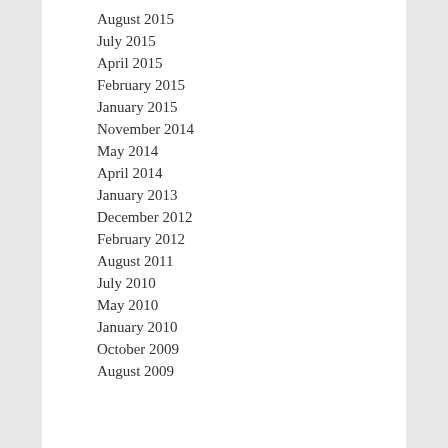August 2015
July 2015
April 2015
February 2015
January 2015
November 2014
May 2014
April 2014
January 2013
December 2012
February 2012
August 2011
July 2010
May 2010
January 2010
October 2009
August 2009